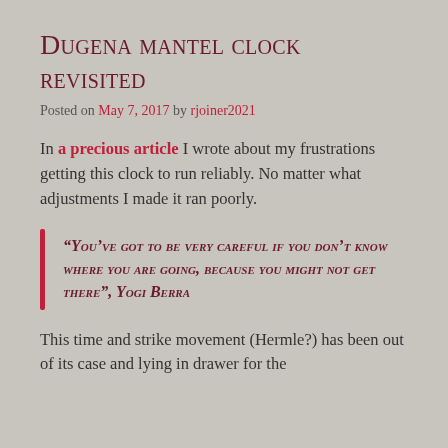Dugena mantel clock revisited
Posted on May 7, 2017 by rjoiner2021
In a precious article I wrote about my frustrations getting this clock to run reliably. No matter what adjustments I made it ran poorly.
“You’ve got to be very careful if you don’t know where you are going, because you might not get there”, Yogi Berra
This time and strike movement (Hermle?) has been out of its case and lying in drawer for the